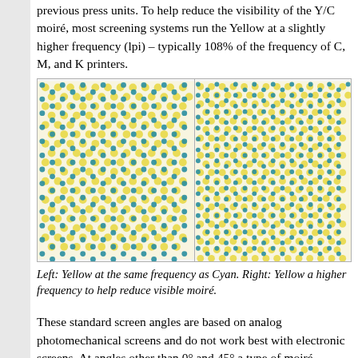previous press units. To help reduce the visibility of the Y/C moiré, most screening systems run the Yellow at a slightly higher frequency (lpi) – typically 108% of the frequency of C, M, and K printers.
[Figure (illustration): Two side-by-side halftone dot pattern images showing cyan and yellow screen overlays. Left panel shows Yellow at the same frequency as Cyan producing visible moiré. Right panel shows Yellow at a higher frequency to help reduce visible moiré.]
Left: Yellow at the same frequency as Cyan. Right: Yellow at a higher frequency to help reduce visible moiré.
These standard screen angles are based on analog photomechanical screens and do not work best with electronic screens. At angles other than 0° and 45° a type of moiré patterning within one screen "single channel moiré" may occur.